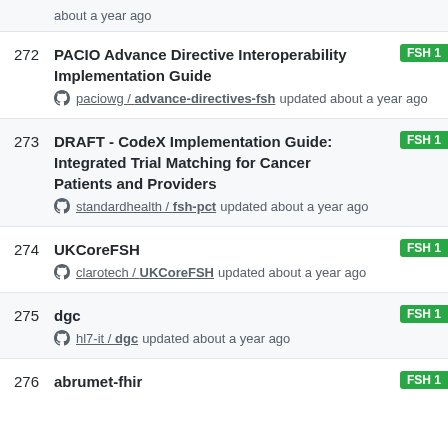updated about a year ago
272 PACIO Advance Directive Interoperability Implementation Guide paciowg / advance-directives-fsh updated about a year ago FSH 1
273 DRAFT - CodeX Implementation Guide: Integrated Trial Matching for Cancer Patients and Providers standardhealth / fsh-pct updated about a year ago FSH 1
274 UKCoreFSH clarotech / UKCoreFSH updated about a year ago FSH 1
275 dgc hl7-it / dgc updated about a year ago FSH 1
276 abrumet-fhir FSH 1